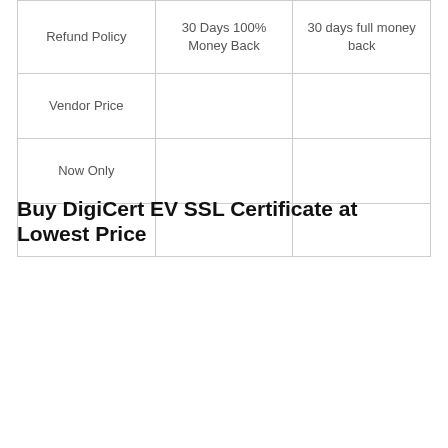| Refund Policy | 30 Days 100% Money Back | 30 days full money back |
| Vendor Price |  |  |
| Now Only |  |  |
|  |  |  |
Buy DigiCert EV SSL Certificate at Lowest Price